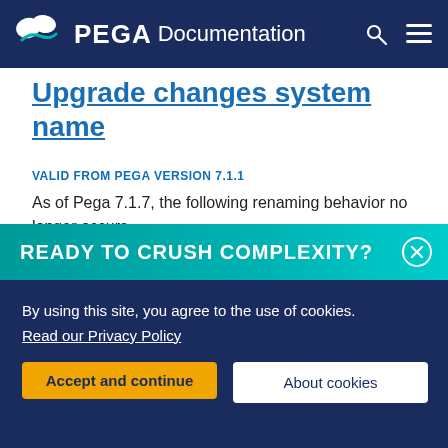PEGA Documentation
Upgrade changes system name
VALID FROM PEGA VERSION 7.1.1
As of Pega 7.1.7, the following renaming behavior no longer occurs.
The upgrade process renames your system to “PRPC” and modifies any custom requestor rules in your application to use this name. After the upgrade completes, you must apply these
READY TO CRUSH COMPLEXITY?
By using this site, you agree to the use of cookies.
Read our Privacy Policy
Accept and continue
About cookies